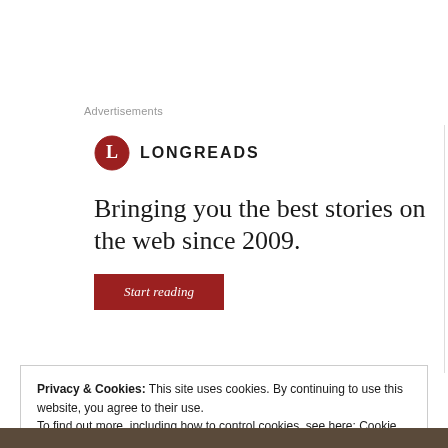Advertisements
[Figure (logo): Longreads logo: red circle with white L, followed by LONGREADS text in bold caps]
Bringing you the best stories on the web since 2009.
Start reading
Privacy & Cookies: This site uses cookies. By continuing to use this website, you agree to their use.
To find out more, including how to control cookies, see here: Cookie Policy
Close and accept